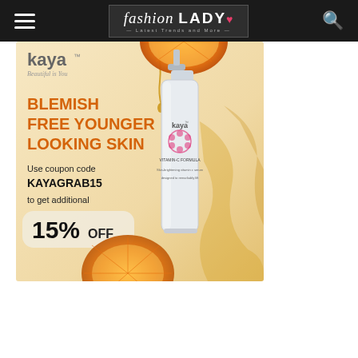fashion LADY · Latest Trends and More
[Figure (photo): Kaya skincare advertisement showing a serum product bottle, orange slices, and golden liquid drops on a warm beige background. Text reads: BLEMISH FREE YOUNGER LOOKING SKIN. Use coupon code KAYAGRAB15 to get additional 15% OFF.]